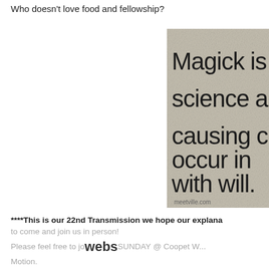Who doesn't love food and fellowship?
[Figure (photo): A quote image on a stone-textured background reading 'Magick is science a causing c occur in with will.' with 'meetville.com' watermark at the bottom.]
****This is our 22nd Transmission we hope our explana...
to come and join us in person!
Please feel free to jo... webs SUNDAY @ Coopet W... Motion.